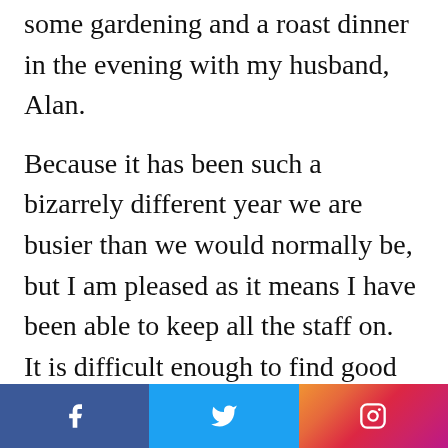some gardening and a roast dinner in the evening with my husband, Alan.
Because it has been such a bizarrely different year we are busier than we would normally be, but I am pleased as it means I have been able to keep all the staff on.  It is difficult enough to find good staff and when you have a great team you want to keep them around.
We have had some of the horses out on fun rides, even taking a couple of the 3-year olds because the ground was
[Figure (infographic): Social media sharing bar with Facebook (blue), Twitter (light blue), and Instagram (gradient pink/purple/orange) icons]